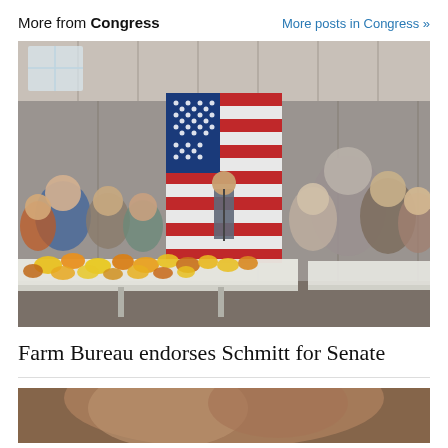More from Congress
More posts in Congress »
[Figure (photo): Indoor gathering in a metal barn/warehouse with a large American flag hanging at the back. A man stands at a podium speaking to a crowd seated at long white tables covered with food including yellow and orange peppers.]
Farm Bureau endorses Schmitt for Senate
[Figure (photo): Partial view of a person's face, blurred, at the bottom of the page.]